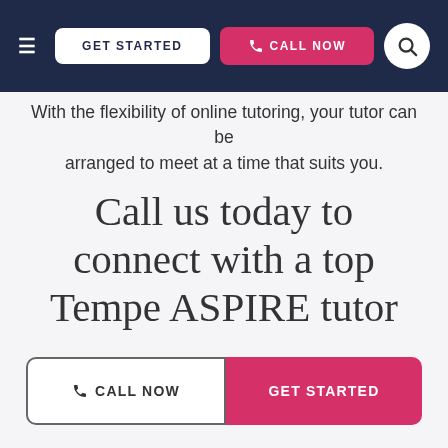GET STARTED | CALL NOW
With the flexibility of online tutoring, your tutor can be arranged to meet at a time that suits you.
Call us today to connect with a top Tempe ASPIRE tutor
CALL NOW | GET STARTED